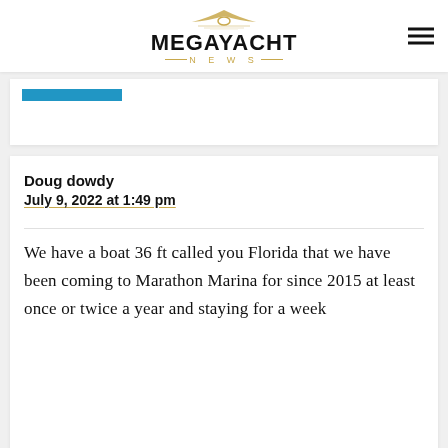MEGAYACHT NEWS
Doug dowdy
July 9, 2022 at 1:49 pm
We have a boat 36 ft called you Florida that we have been coming to Marathon Marina for since 2015 at least once or twice a year and staying for a week